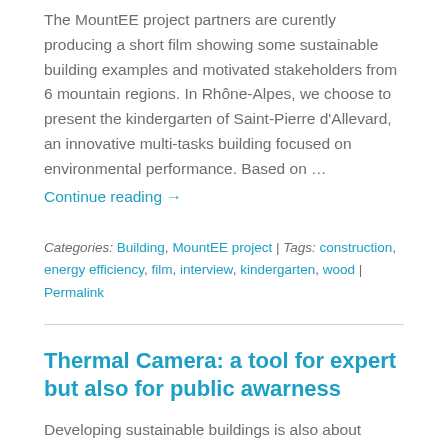The MountEE project partners are curently producing a short film showing some sustainable building examples and motivated stakeholders from 6 mountain regions. In Rhône-Alpes, we choose to present the kindergarten of Saint-Pierre d'Allevard, an innovative multi-tasks building focused on environmental performance. Based on …
Continue reading →
Categories: Building, MountEE project | Tags: construction, energy efficiency, film, interview, kindergarten, wood | Permalink
Thermal Camera: a tool for expert but also for public awarness
Developing sustainable buildings is also about raising awareness of energy issues. That is why the AGEDEN (Isere Info Energy Association), as well as many energy